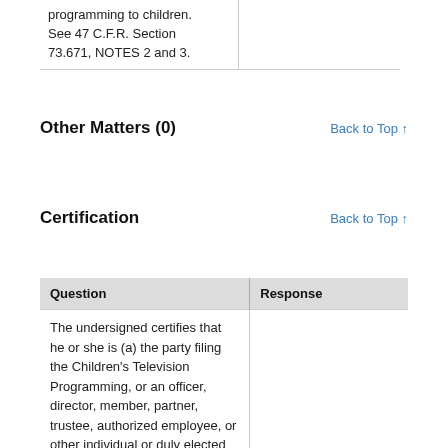|  |  |
| --- | --- |
| programming to children. See 47 C.F.R. Section 73.671, NOTES 2 and 3. |  |
Other Matters (0)
Certification
| Question | Response |
| --- | --- |
| The undersigned certifies that he or she is (a) the party filing the Children's Television Programming, or an officer, director, member, partner, trustee, authorized employee, or other individual or duly elected or appointed official |  |